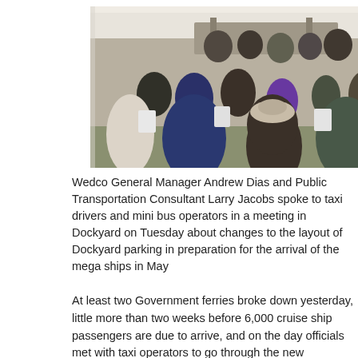[Figure (photo): Outdoor meeting under a tent with many people seated in white plastic chairs, viewed from behind. At the front, speakers appear to be at a table. A parking area and vehicles are visible in the background.]
Wedco General Manager Andrew Dias and Public Transportation Consultant Larry Jacobs spoke to taxi drivers and mini bus operators in a meeting in Dockyard on Tuesday about changes to the layout of Dockyard parking in preparation for the arrival of the mega ships in May
At least two Government ferries broke down yesterday, little more than two weeks before 6,000 cruise ship passengers are due to arrive, and on the day officials met with taxi operators to go through the new transportation plan for Dockyard. However, Government denied reports that as many as four ferries had broken down, despite vendors in the area telling The Royal Gazette that this was the case, and claiming extra busses had